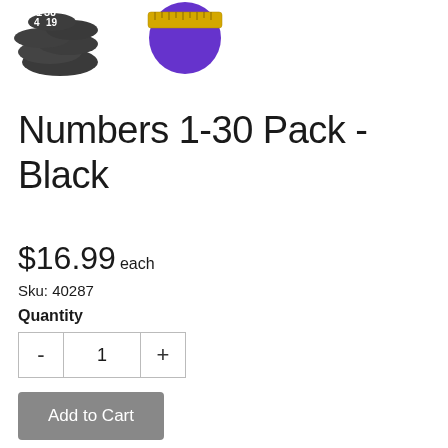[Figure (photo): Two product images: left shows a pile of black numbered SitSpots circles (numbers visible: 30, 4, 19), right shows a purple circle with a wooden ruler/tape measure on top for scale.]
Numbers 1-30 Pack - Black
$16.99 each
Sku: 40287
Quantity
1
Add to Cart
These black numbered SitSpots® circles are absolutely the perfect solution for social distancing